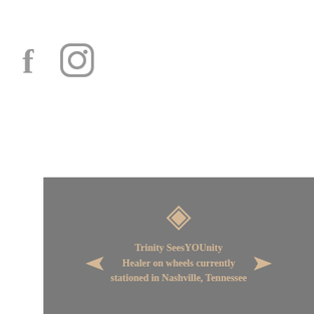[Figure (logo): Facebook icon (f) in grey]
[Figure (logo): Instagram icon (circle with inner square and dot) in grey]
[Figure (other): Hamburger menu button — three horizontal grey lines inside a rounded square border]
[Figure (infographic): Grey banner with decorative tan/gold diamond shapes and arrows, containing text: Trinity SeesYOUnity Healer on wheels currently stationed in Nashville, Tennessee]